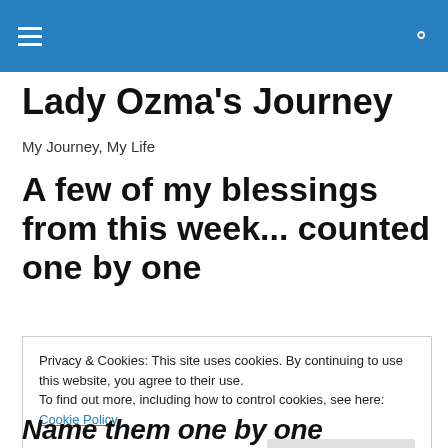Lady Ozma's Journey [navigation bar with hamburger menu and search icon]
Lady Ozma's Journey
My Journey, My Life
A few of my blessings from this week... counted one by one
Privacy & Cookies: This site uses cookies. By continuing to use this website, you agree to their use.
To find out more, including how to control cookies, see here: Cookie Policy
Close and accept
Name them one by one